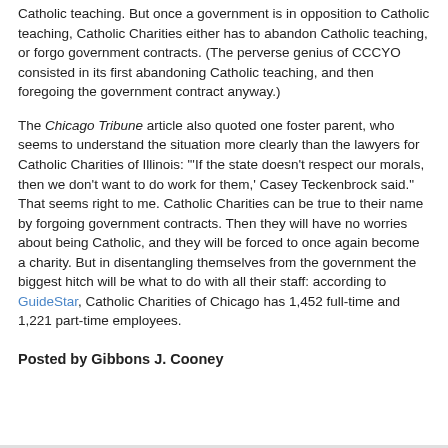Catholic teaching. But once a government is in opposition to Catholic teaching, Catholic Charities either has to abandon Catholic teaching, or forgo government contracts. (The perverse genius of CCCYO consisted in its first abandoning Catholic teaching, and then foregoing the government contract anyway.)
The Chicago Tribune article also quoted one foster parent, who seems to understand the situation more clearly than the lawyers for Catholic Charities of Illinois: "'If the state doesn't respect our morals, then we don't want to do work for them,' Casey Teckenbrock said." That seems right to me. Catholic Charities can be true to their name by forgoing government contracts. Then they will have no worries about being Catholic, and they will be forced to once again become a charity. But in disentangling themselves from the government the biggest hitch will be what to do with all their staff: according to GuideStar, Catholic Charities of Chicago has 1,452 full-time and 1,221 part-time employees.
Posted by Gibbons J. Cooney